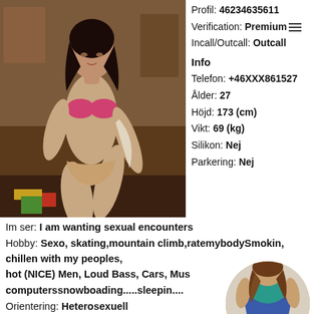[Figure (photo): Young woman in pink lingerie posing in a room]
Profil: 46234635611
Verification: Premium
Incall/Outcall: Outcall
Info
Telefon: +46XXX861527
Ålder: 27
Höjd: 173 (cm)
Vikt: 69 (kg)
Silikon: Nej
Parkering: Nej
Im ser: I am wanting sexual encounters
Hobby: Sexo, skating,mountain climb,ratemybodySmokin, chillen with my peoples, hot (NICE) Men, Loud Bass, Cars, Mus computerssnowboading.....sleepin....
Orientering: Heterosexuell
Nationalitet:
Säker lägenhet: -
[Figure (photo): Woman in teal top and denim shorts, circular cropped photo]